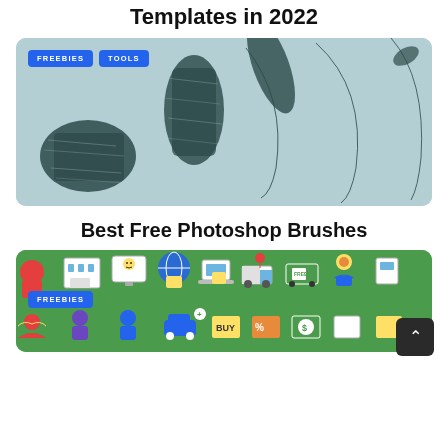Templates in 2022
[Figure (photo): Card image showing various dark teal/charcoal brush stroke textures on a light blue-gray background, with FREEBIES and TOOLS badges in top left corner]
Best Free Photoshop Brushes
[Figure (illustration): Card image showing colorful ecommerce/shopping icons on a green background, with a FREEBIES badge in the top left corner and a scroll-to-top button on the right]